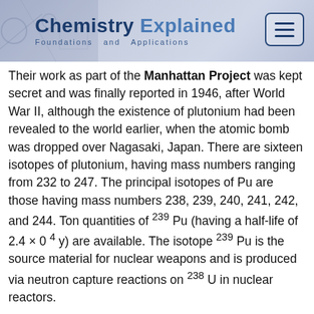Chemistry Explained — Foundations and Applications
Their work as part of the Manhattan Project was kept secret and was finally reported in 1946, after World War II, although the existence of plutonium had been revealed to the world earlier, when the atomic bomb was dropped over Nagasaki, Japan. There are sixteen isotopes of plutonium, having mass numbers ranging from 232 to 247. The principal isotopes of Pu are those having mass numbers 238, 239, 240, 241, 242, and 244. Ton quantities of 239Pu (having a half-life of 2.4 × 0 4 y) are available. The isotope 239Pu is the source material for nuclear weapons and is produced via neutron capture reactions on 238U in nuclear reactors.
About 110 tons of 239Pu are generated in nuclear power plants each year, with approximately 40 percent of the energy produced in the nuclear fuel cycle coming from 239Pu. About three times as much electricity is generated from 239Pu in the United States as from oil-fired electrical generating plants. The ground state (outer orbital) electronic configuration of Pu